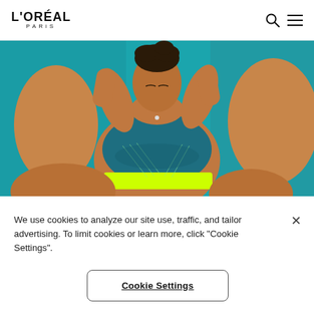L'ORÉAL PARIS
[Figure (photo): Athletic woman with dark hair in a teal sports bra with neon yellow trim, posed against a bright teal background, arms raised near her shoulders]
We use cookies to analyze our site use, traffic, and tailor advertising. To limit cookies or learn more, click "Cookie Settings".
Cookie Settings